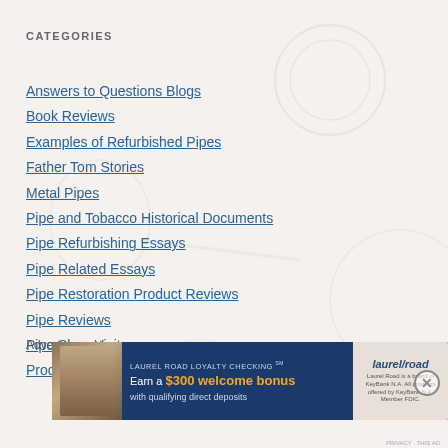CATEGORIES
Answers to Questions Blogs
Book Reviews
Examples of Refurbished Pipes
Father Tom Stories
Metal Pipes
Pipe and Tobacco Historical Documents
Pipe Refurbishing Essays
Pipe Related Essays
Pipe Restoration Product Reviews
Pipe Reviews
Pipe Shop Visits
Product Reviews
Advertisements
[Figure (screenshot): Advertisement banner for Laurel Road Loyalty Checking. Text reads: LAUREL ROAD LOYALTY CHECKING SM, Earn a $300 welcome bonus, with qualifying direct deposits. Laurel Road is a brand of KeyBank N.A. All products offered by KeyBank N.A. Member FDIC.]